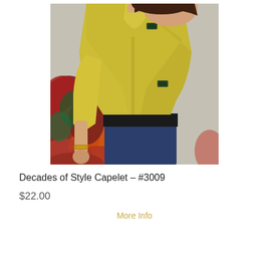[Figure (photo): A woman wearing a yellow-green capelet jacket with dark toggle buttons, paired with dark jeans, standing in front of a wall with colorful autumn ivy leaves.]
Decades of Style Capelet – #3009
$22.00
More Info